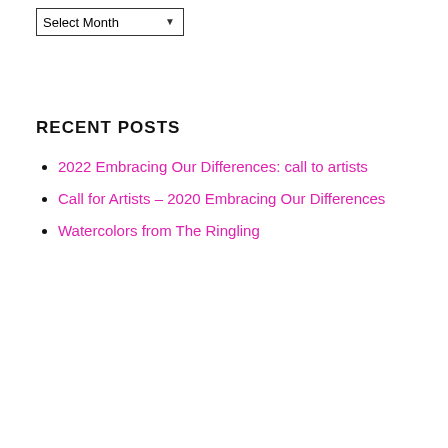Select Month
RECENT POSTS
2022 Embracing Our Differences: call to artists
Call for Artists – 2020 Embracing Our Differences
Watercolors from The Ringling